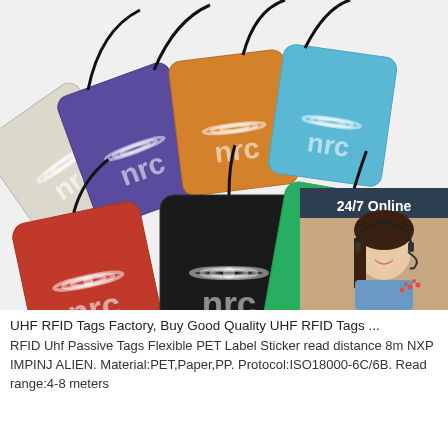[Figure (photo): Multiple colorful NFC RFID tag cards (white, purple, orange, blue, red, black, green) with lanyards and NFC logo printed on them, arranged in a fan-like display. An inset sidebar shows a customer service agent with '24/7 Online' text, 'Click here for free chat!' italic text, and an orange 'QUOTATION' button.]
UHF RFID Tags Factory, Buy Good Quality UHF RFID Tags ...
RFID Uhf Passive Tags Flexible PET Label Sticker read distance 8m NXP IMPINJ ALIEN. Material:PET,Paper,PP. Protocol:ISO18000-6C/6B. Read range:4-8 meters